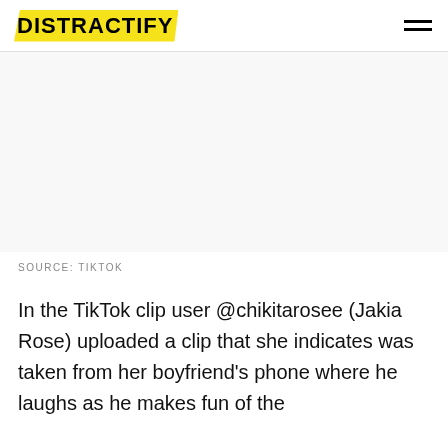DISTRACTIFY
[Figure (other): Blank white image placeholder area]
SOURCE: TIKTOK
In the TikTok clip user @chikitarosee (Jakia Rose) uploaded a clip that she indicates was taken from her boyfriend's phone where he laughs as he makes fun of the